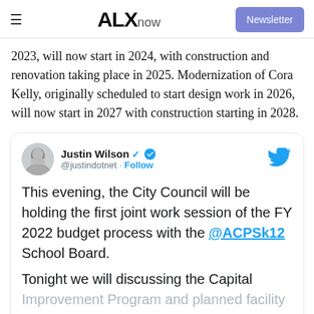ALXnow | Newsletter
2023, will now start in 2024, with construction and renovation taking place in 2025. Modernization of Cora Kelly, originally scheduled to start design work in 2026, will now start in 2027 with construction starting in 2028.
[Figure (screenshot): Embedded tweet from @justindotnet (Justin Wilson, verified) with Twitter bird icon. Tweet text: 'This evening, the City Council will be holding the first joint work session of the FY 2022 budget process with the @ACPSk12 School Board. Tonight we will discussing the Capital Improvement Program and planned facility investments for our schools.']